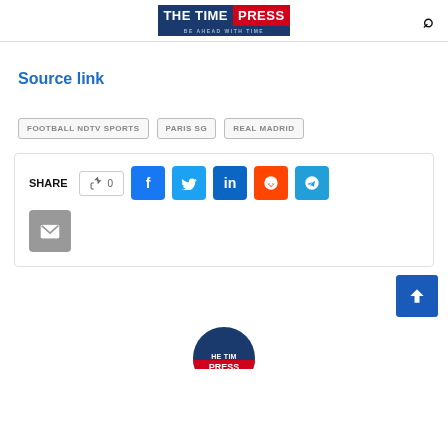THE TIME PRESS — BE AHEAD WITH TIME
Source link
FOOTBALL NDTV SPORTS
PARIS SG
REAL MADRID
SHARE 0 [Facebook] [Twitter] [LinkedIn] [Reddit] [Telegram] [Email]
[Figure (logo): The Time Press circular logo at bottom, partially visible]